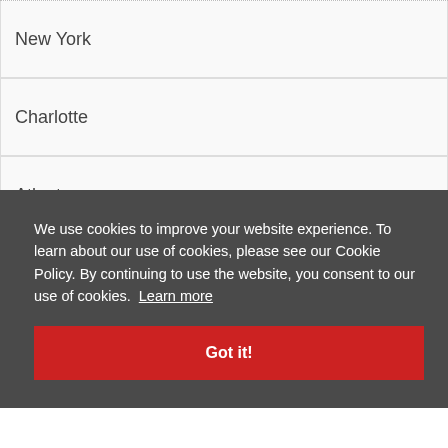New York
Charlotte
Atlanta
We use cookies to improve your website experience. To learn about our use of cookies, please see our Cookie Policy. By continuing to use the website, you consent to our use of cookies. Learn more
Got it!